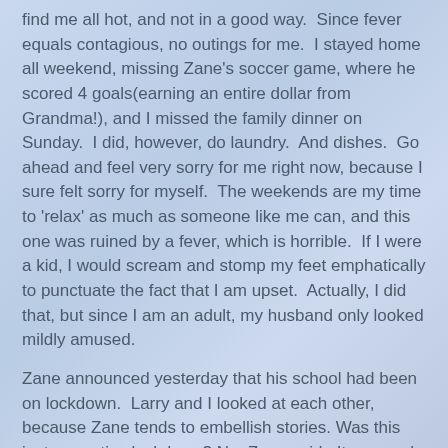find me all hot, and not in a good way.  Since fever equals contagious, no outings for me.  I stayed home all weekend, missing Zane's soccer game, where he scored 4 goals(earning an entire dollar from Grandma!), and I missed the family dinner on Sunday.  I did, however, do laundry.  And dishes.  Go ahead and feel very sorry for me right now, because I sure felt sorry for myself.  The weekends are my time to 'relax' as much as someone like me can, and this one was ruined by a fever, which is horrible.  If I were a kid, I would scream and stomp my feet emphatically to punctuate the fact that I am upset.  Actually, I did that, but since I am an adult, my husband only looked mildly amused.
Zane announced yesterday that his school had been on lockdown.  Larry and I looked at each other, because Zane tends to embellish stories. Was this just a practice lockdown? No, Zane said.  It was real.  We sat in the dark and were very quiet, because there was a stranger on campus.  Strangers are bad, Zane told us.  This stranger was so bad, Zane emphasized, that he used the toilet and did not flush.  Larry and I looked at each other, but when in doubt, look in the school backpack.  There was a letter this